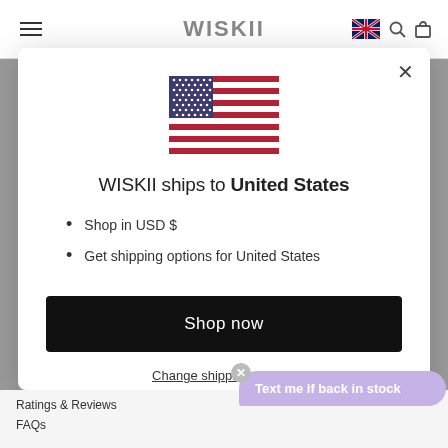WISKII
[Figure (illustration): US flag SVG illustration centered in modal]
WISKII ships to United States
Shop in USD $
Get shipping options for United States
Shop now
Change shipping country
Ratings & Reviews
FAQs
Text me if back in stock